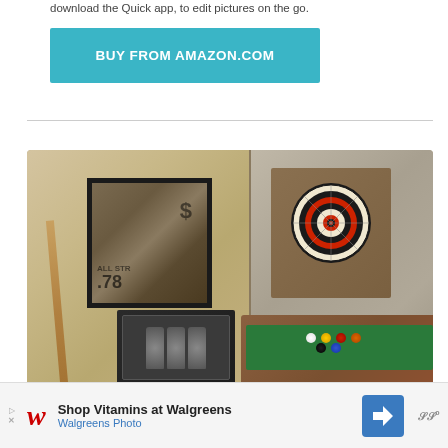download the Quick app, to edit pictures on the go.
[Figure (other): Teal/cyan button labeled BUY FROM AMAZON.COM]
[Figure (photo): Game room interior showing a billiard cue stick, framed wall art with text 'ALL STR .78' and dollar sign, mini beverage fridge, dartboard in wooden cabinet, and pool table with green felt and billiard balls]
[Figure (other): Walgreens advertisement banner: Shop Vitamins at Walgreens - Walgreens Photo, with navigation arrow icon and additional app icon]